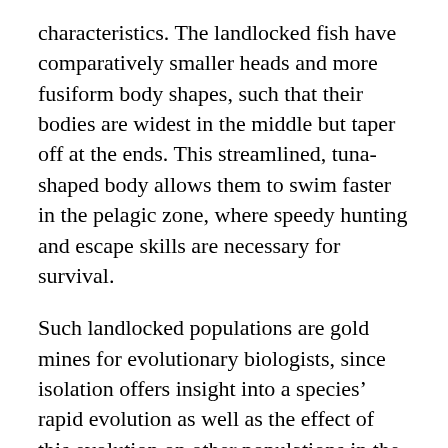characteristics. The landlocked fish have comparatively smaller heads and more fusiform body shapes, such that their bodies are widest in the middle but taper off at the ends. This streamlined, tuna-shaped body allows them to swim faster in the pelagic zone, where speedy hunting and escape skills are necessary for survival.
Such landlocked populations are gold mines for evolutionary biologists, since isolation offers insight into a species' rapid evolution as well as the effect of this evolution on other populations in the environment. After showing that alewives drove evolution in their prey, a plankton species, and in one of their niche competitors, the bluegill, Post decided to study the trickle-up impact of these divergent fish populations on their predators, the chain